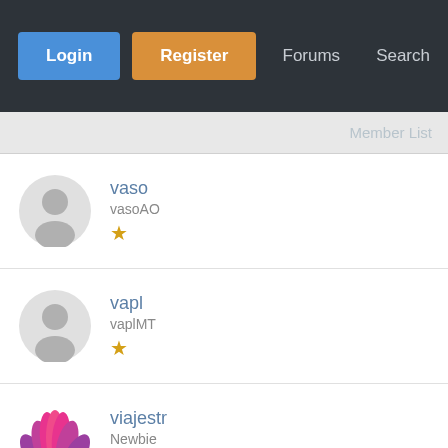Login | Register | Forums | Search
Member List
vaso - vasoAO - 1 star
vapl - vaplMT - 1 star
viajestr - Newbie - 1 star
vectorabdurra - Newbie